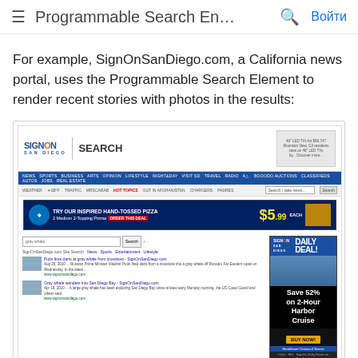Programmable Search En…
For example, SignOnSanDiego.com, a California news portal, uses the Programmable Search Element to render recent stories with photos in the results:
[Figure (screenshot): Screenshot of SignOnSanDiego.com website showing the Programmable Search Element integration with search results displaying gray whale news stories with photos, and a Daily Deal sidebar advertisement for a 2-Hour Harbor Cruise saving 52%.]
To ensure readers see not only the most relevant, but also